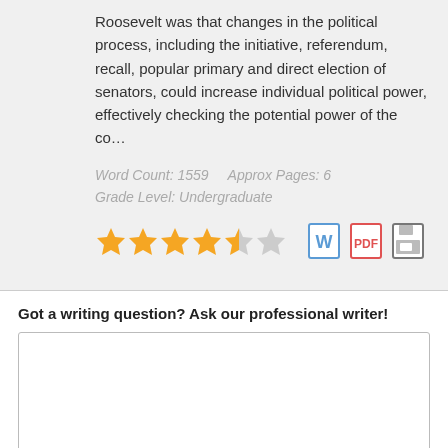Roosevelt was that changes in the political process, including the initiative, referendum, recall, popular primary and direct election of senators, could increase individual political power, effectively checking the potential power of the co…
Word Count: 1559    Approx Pages: 6
Grade Level: Undergraduate
[Figure (other): 4.5 out of 5 stars rating with Word document, PDF, and save icons]
Got a writing question? Ask our professional writer!
[Text area input box]